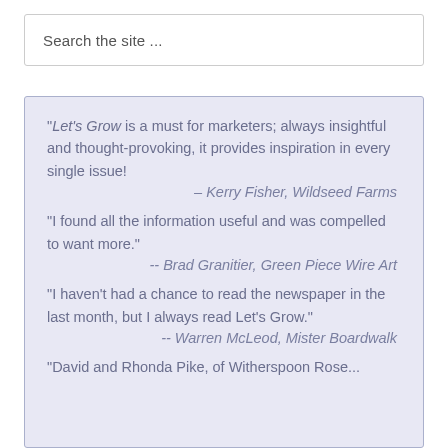Search the site ...
"Let's Grow is a must for marketers; always insightful and thought-provoking, it provides inspiration in every single issue!
– Kerry Fisher, Wildseed Farms
"I found all the information useful and was compelled to want more."
-- Brad Granitier, Green Piece Wire Art
"I haven't had a chance to read the newspaper in the last month, but I always read Let's Grow."
-- Warren McLeod, Mister Boardwalk
"David and Rhonda Pike, of Witherspoon Rose...